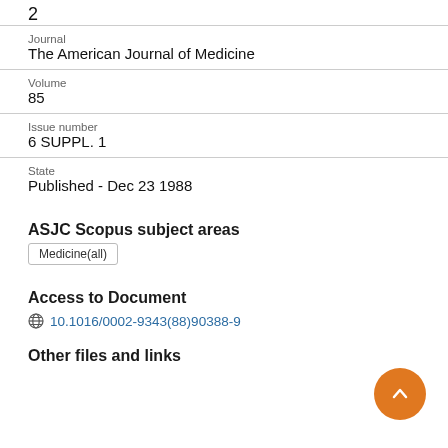2
Journal
The American Journal of Medicine
Volume
85
Issue number
6 SUPPL. 1
State
Published - Dec 23 1988
ASJC Scopus subject areas
Medicine(all)
Access to Document
10.1016/0002-9343(88)90388-9
Other files and links